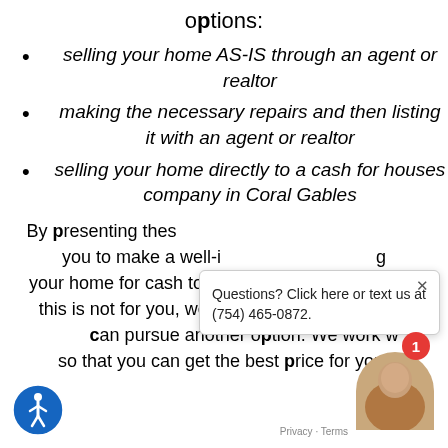options:
selling your home AS-IS through an agent or realtor
making the necessary repairs and then listing it with an agent or realtor
selling your home directly to a cash for houses company in Coral Gables
By presenting these [options], [we want to help] you to make a well-i[nformed decision about selling] your home for cash to Homeinc.  Rest assured if this is not for you, we'll let you know right a[nd you] can pursue another option. We work w[ith you] so that you can get the best price for your [home].
Questions? Click here or text us at (754) 465-0872.